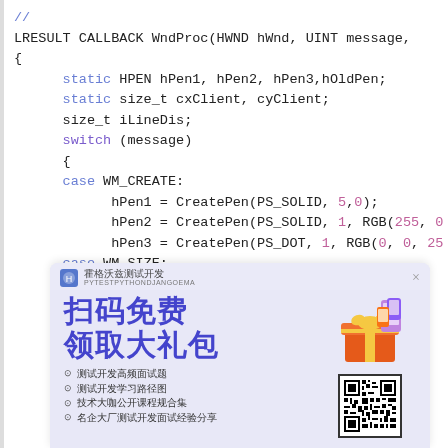[Figure (screenshot): Code editor screenshot showing C/WinAPI code: LRESULT CALLBACK WndProc function body with static HPEN variables, switch statement with cases WM_CREATE (CreatePen calls), WM_SIZE (LOWORD/HIWORD lParam assignments, return 0), and partial WM_CO... case]
[Figure (infographic): Advertisement overlay: '扫码免费领取大礼包' (Scan code for free gift package) with bullet list items about testing/development courses and QR code, from 霍格沃兹测试开发]